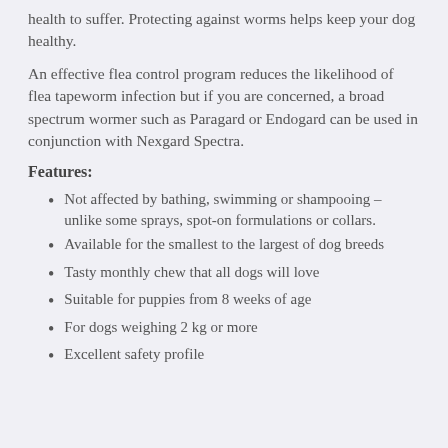health to suffer. Protecting against worms helps keep your dog healthy.
An effective flea control program reduces the likelihood of flea tapeworm infection but if you are concerned, a broad spectrum wormer such as Paragard or Endogard can be used in conjunction with Nexgard Spectra.
Features:
Not affected by bathing, swimming or shampooing – unlike some sprays, spot-on formulations or collars.
Available for the smallest to the largest of dog breeds
Tasty monthly chew that all dogs will love
Suitable for puppies from 8 weeks of age
For dogs weighing 2 kg or more
Excellent safety profile